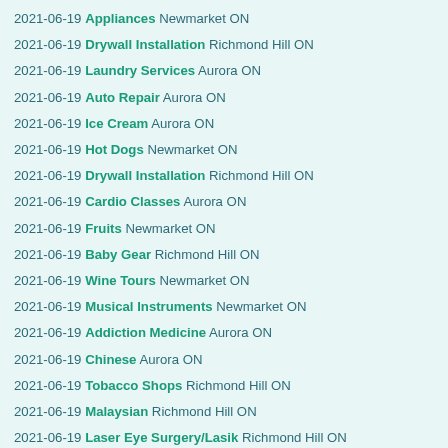2021-06-19 Appliances Newmarket ON
2021-06-19 Drywall Installation Richmond Hill ON
2021-06-19 Laundry Services Aurora ON
2021-06-19 Auto Repair Aurora ON
2021-06-19 Ice Cream Aurora ON
2021-06-19 Hot Dogs Newmarket ON
2021-06-19 Drywall Installation Richmond Hill ON
2021-06-19 Cardio Classes Aurora ON
2021-06-19 Fruits Newmarket ON
2021-06-19 Baby Gear Richmond Hill ON
2021-06-19 Wine Tours Newmarket ON
2021-06-19 Musical Instruments Newmarket ON
2021-06-19 Addiction Medicine Aurora ON
2021-06-19 Chinese Aurora ON
2021-06-19 Tobacco Shops Richmond Hill ON
2021-06-19 Malaysian Richmond Hill ON
2021-06-19 Laser Eye Surgery/Lasik Richmond Hill ON
2021-06-18 bridal Newmarket ON
2021-06-17 Threading Services Aurora ON
2021-06-14 baby Newmarket ON
2021-06-14 Life Coach Richmond Hill ON
2021-06-14 Photography Stores Richmond Hill ON
2021-06-14 Aquarium Services Newmarket ON